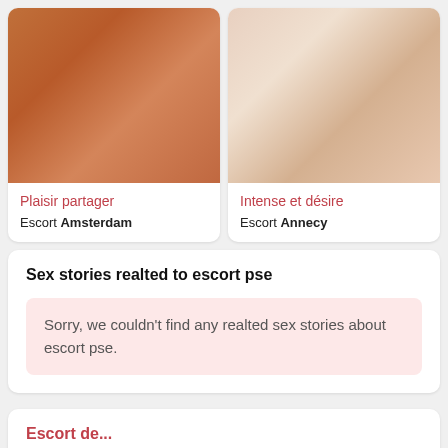[Figure (photo): Photo of a person lying on a bed, warm reddish-brown tones]
Plaisir partager
Escort Amsterdam
[Figure (photo): Photo of a blonde woman smiling, light tones]
Intense et désire
Escort Annecy
Sex stories realted to escort pse
Sorry, we couldn't find any realted sex stories about escort pse.
Escort de...